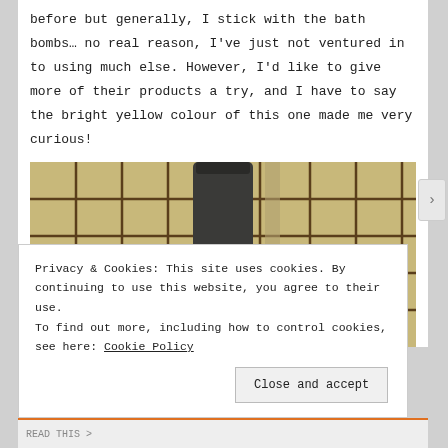before but generally, I stick with the bath bombs… no real reason, I've just not ventured in to using much else. However, I'd like to give more of their products a try, and I have to say the bright yellow colour of this one made me very curious!
[Figure (photo): Photo of a bright yellow bottle/product with a dark cap placed on top of tan/beige square-tiled soap bars with dark grout lines]
Privacy & Cookies: This site uses cookies. By continuing to use this website, you agree to their use.
To find out more, including how to control cookies, see here: Cookie Policy
Close and accept